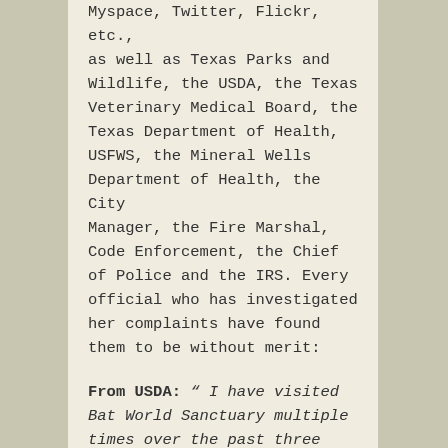Myspace, Twitter, Flickr, etc., as well as Texas Parks and Wildlife, the USDA, the Texas Veterinary Medical Board, the Texas Department of Health, USFWS, the Mineral Wells Department of Health, the City Manager, the Fire Marshal, Code Enforcement, the Chief of Police and the IRS. Every official who has investigated her complaints have found them to be without merit:
From USDA: “ I have visited Bat World Sanctuary multiple times over the past three years. The facility has always been clean